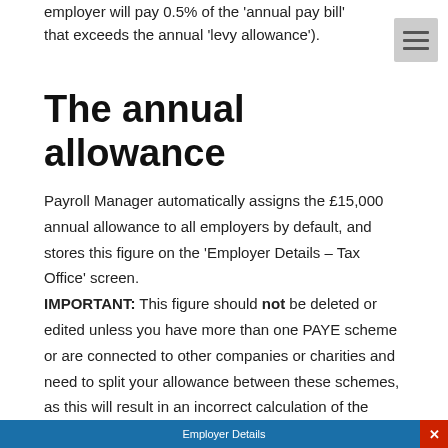employer will pay 0.5% of the 'annual pay bill' that exceeds the annual 'levy allowance').
The annual allowance
Payroll Manager automatically assigns the £15,000 annual allowance to all employers by default, and stores this figure on the 'Employer Details – Tax Office' screen. IMPORTANT: This figure should not be deleted or edited unless you have more than one PAYE scheme or are connected to other companies or charities and need to split your allowance between these schemes, as this will result in an incorrect calculation of the Apprenticeship levy for that employer.
[Figure (screenshot): Bottom bar of a screenshot showing 'Employer Details' screen header with blue background and a red close button]